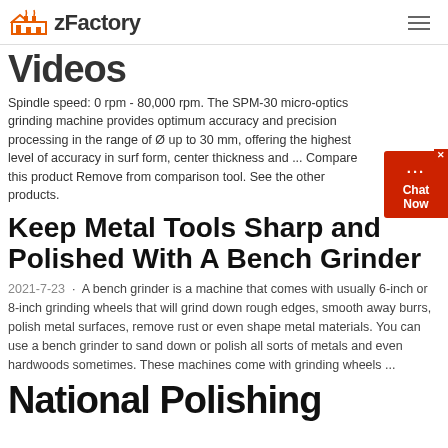zFactory
Videos
Spindle speed: 0 rpm - 80,000 rpm. The SPM-30 micro-optics grinding machine provides optimum accuracy and precision processing in the range of Ø up to 30 mm, offering the highest level of accuracy in surf form, center thickness and ... Compare this product Remove from comparison tool. See the other products.
Keep Metal Tools Sharp and Polished With A Bench Grinder
2021-7-23 · A bench grinder is a machine that comes with usually 6-inch or 8-inch grinding wheels that will grind down rough edges, smooth away burrs, polish metal surfaces, remove rust or even shape metal materials. You can use a bench grinder to sand down or polish all sorts of metals and even hardwoods sometimes. These machines come with grinding wheels ...
National Polishing